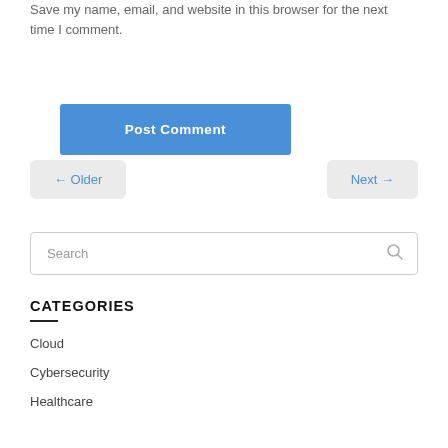Save my name, email, and website in this browser for the next time I comment.
Post Comment
← Older
Next →
Search
CATEGORIES
Cloud
Cybersecurity
Healthcare